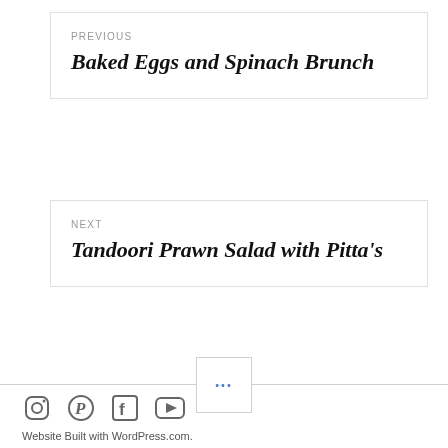PREVIOUS
Baked Eggs and Spinach Brunch
NEXT
Tandoori Prawn Salad with Pitta's
•••
[Figure (illustration): Social media icons: Instagram, Pinterest, Facebook, YouTube]
Website Built with WordPress.com.